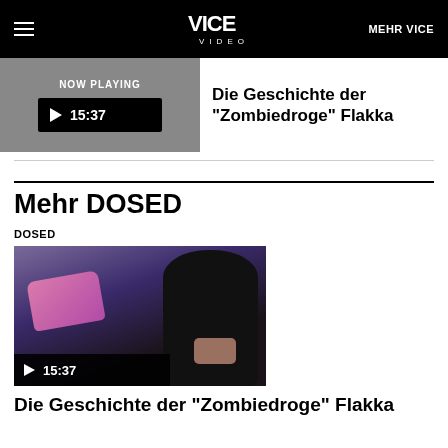VICE VIDEO  MEHR VICE
[Figure (screenshot): Now playing video thumbnail showing gray background with play button and timestamp 15:37]
Die Geschichte der "Zombiedroge" Flakka
Mehr DOSED
DOSED
[Figure (screenshot): Video thumbnail showing a masked figure in black hood handling a pink bag, with play button overlay and timestamp 15:37]
Die Geschichte der "Zombiedroge" Flakka